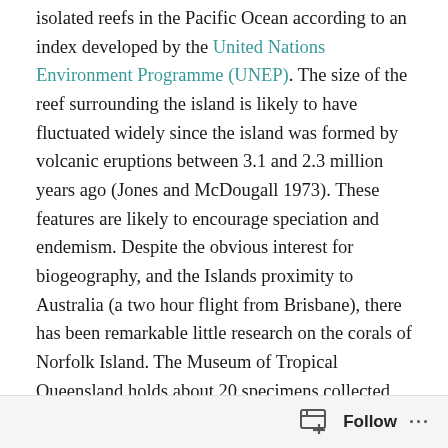isolated reefs in the Pacific Ocean according to an index developed by the United Nations Environment Programme (UNEP). The size of the reef surrounding the island is likely to have fluctuated widely since the island was formed by volcanic eruptions between 3.1 and 2.3 million years ago (Jones and McDougall 1973). These features are likely to encourage speciation and endemism. Despite the obvious interest for biogeography, and the Islands proximity to Australia (a two hour flight from Brisbane), there has been remarkable little research on the corals of Norfolk Island. The Museum of Tropical Queensland holds about 20 specimens collected by Neville Coleman in the 1990s and Charlie Veron produced a species list following a short visit in 1997. Veron includes Norfolk Island as a separate ecoregion at the Corals of The
Follow ···